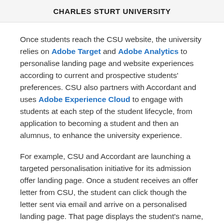CHARLES STURT UNIVERSITY
Once students reach the CSU website, the university relies on Adobe Target and Adobe Analytics to personalise landing page and website experiences according to current and prospective students' preferences. CSU also partners with Accordant and uses Adobe Experience Cloud to engage with students at each step of the student lifecycle, from application to becoming a student and then an alumnus, to enhance the university experience.
For example, CSU and Accordant are launching a targeted personalisation initiative for its admission offer landing page. Once a student receives an offer letter from CSU, the student can click though the letter sent via email and arrive on a personalised landing page. That page displays the student's name, university course